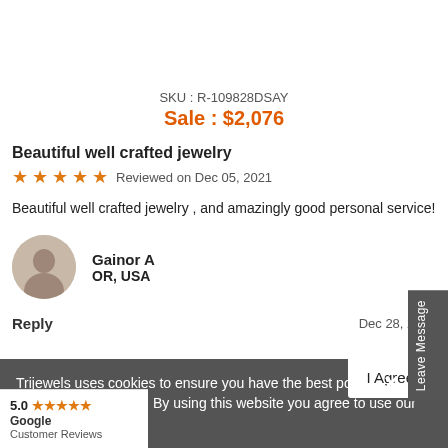SKU : R-109828DSAY
Sale : $2,076
Beautiful well crafted jewelry
★★★★★ Reviewed on Dec 05, 2021
Beautiful well crafted jewelry , and amazingly good personal service!
Gainor A
OR, USA
Reply
Dec 28, 2021
Trijewels uses cookies to ensure you have the best possible shopping experience. By using this website you agree to use our cookies. Learn more.
I Agree
5.0 ★★★★★
Google
Customer Reviews